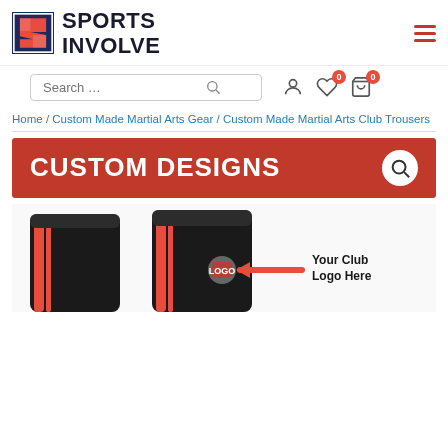[Figure (logo): Sports Involve logo with red/navy S icon and bold black SPORTS INVOLVE text]
Search ...
Home / Custom Made Martial Arts Gear / Custom Made Martial Arts Club Trousers
[Figure (infographic): Red banner with white bold text CUSTOM DESIGNS and a magnifying glass circle icon]
[Figure (photo): Two black martial arts trousers with red stripes, one with a club logo indicated by an arrow and text Your Club Logo Here]